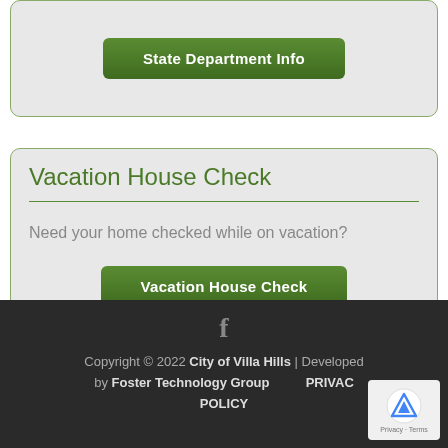[Figure (other): Green rounded card with a 'State Department Info' green button]
Vacation House Check
Need your home checked while on vacation?
[Figure (other): Green 'Vacation House Check' button]
Copyright © 2022 City of Villa Hills | Developed by Foster Technology Group  PRIVACY POLICY